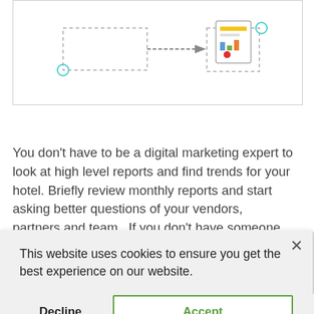[Figure (flowchart): A partial flowchart/diagram showing arrows and a report icon with chart symbols, representing a digital marketing reporting workflow.]
You don't have to be a digital marketing expert to look at high level reports and find trends for your hotel. Briefly review monthly reports and start asking better questions of your vendors, partners and team.  If you don't have someone on your team with the skill set to dive deeper, find someone who does.
Digital Marketing KPIs
This website uses cookies to ensure you get the best experience on our website.
Decline
Accept